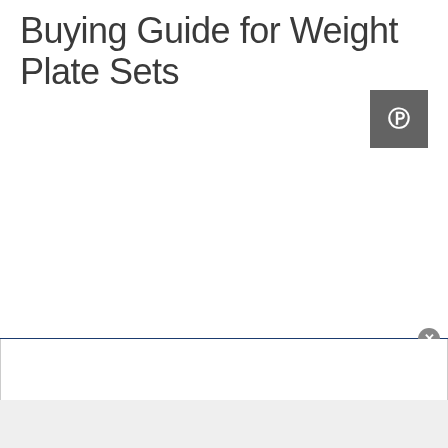Buying Guide for Weight Plate Sets
[Figure (logo): Pinterest social share button — gray square with white Pinterest 'P' logo icon]
[Figure (screenshot): Popup overlay UI element: dark blue top border line, gray close (x) button in top-right corner, white content area below, light gray bar at bottom]